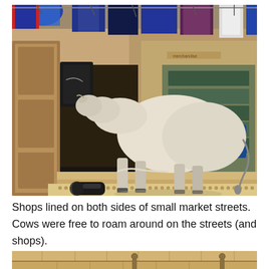[Figure (photo): A white/cream-colored cow standing on stone steps in front of an Indian market shop. The shop has colorful clothing items (t-shirts, dresses, scarves) hanging outside. A black Nike vest hangs on the left. The shopfront has ornate carved wooden details. A blue backpack is visible in the shop window. A scooter handlebar is visible at the bottom left.]
Shops lined on both sides of small market streets.  Cows were free to roam around on the streets (and shops).
[Figure (photo): Bottom portion of a stone or sandstone architectural structure with horizontal rows of carved stonework, partially cut off at the bottom of the page.]